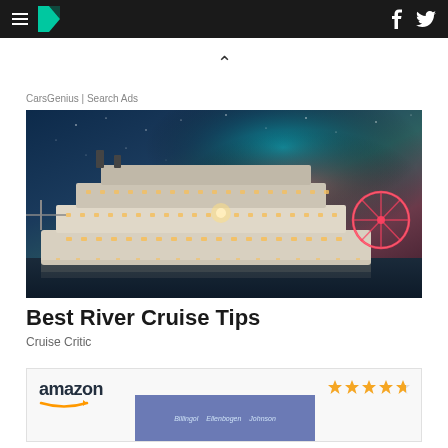HuffPost navigation bar with hamburger menu, logo, Facebook and Twitter icons
CarsGenius | Search Ads
[Figure (photo): A river cruise ship illuminated at night against a dramatic starry sky with teal and pink clouds, with a Ferris wheel visible in the background]
Best River Cruise Tips
Cruise Critic
[Figure (other): Amazon advertisement box with star rating (4.5 stars) and a book cover image with purple background showing author names Billngol, Ellenbogen, Johnson]